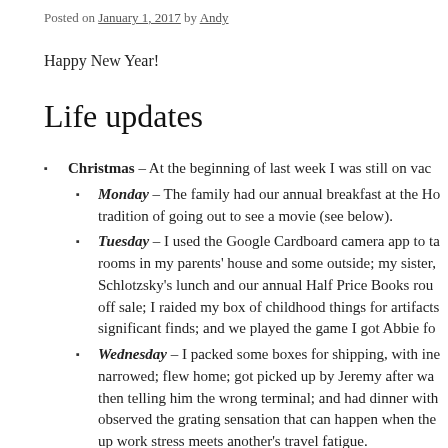Posted on January 1, 2017 by Andy
Happy New Year!
Life updates
Christmas – At the beginning of last week I was still on vac
Monday – The family had our annual breakfast at the Ho tradition of going out to see a movie (see below).
Tuesday – I used the Google Cardboard camera app to ta rooms in my parents' house and some outside; my sister, Schlotzsky's lunch and our annual Half Price Books rou off sale; I raided my box of childhood things for artifacts significant finds; and we played the game I got Abbie fo
Wednesday – I packed some boxes for shipping, with ine narrowed; flew home; got picked up by Jeremy after wa then telling him the wrong terminal; and had dinner with observed the grating sensation that can happen when the up work stress meets another's travel fatigue.